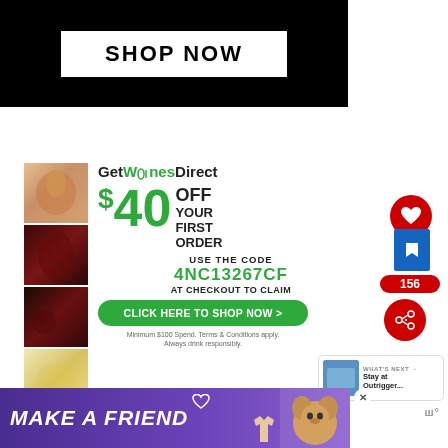[Figure (illustration): Black banner with white 'SHOP NOW' button on dark background]
[Figure (infographic): GetWinesDirect advertisement: $40 OFF your first order, use code 4NC13267CF at checkout, with wine photos and click here to shop now button]
[Figure (illustration): Social media sidebar with heart button, count 156, share button, and What's Next: Stay at Outrigger promo]
[Figure (illustration): Bottom banner: MAKE A FRIEND with dog photo in purple gradient banner]